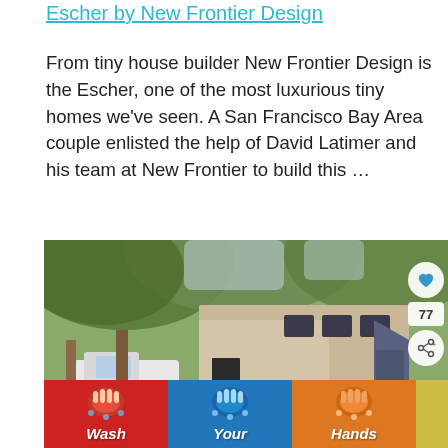Escher by New Frontier Design
From tiny house builder New Frontier Design is the Escher, one of the most luxurious tiny homes we've seen. A San Francisco Bay Area couple enlisted the help of David Latimer and his team at New Frontier to build this …
[Figure (photo): Exterior photo of the Escher tiny house by New Frontier Design, a modern boxy wooden structure parked under large trees with a white pickup truck visible. Overlay UI buttons: heart/favorite icon, share count of 77, and share button.]
[Figure (infographic): Advertisement banner with hand-washing emoji illustrations and text: Wash Your Hands Often on colored background sections (red, blue, orange, yellow-green). Close button X visible.]